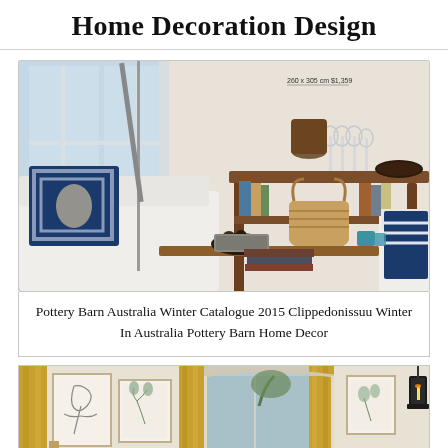Home Decoration Design
[Figure (photo): Interior living room scene showing a wooden console table with shelves holding books and decorative items, a wicker basket, a dark bowl with decorative balls, stacked books on a coffee table, white sofa with blue patterned pillow, and wine glasses on the console. Small text overlay reads: 260 x 305 cm $1,359]
Pottery Barn Australia Winter Catalogue 2015 Clippedonissuu Winter In Australia Pottery Barn Home Decor
[Figure (photo): Partial view of an elegant room with gold/yellow curtains, framed botanical/line art prints on walls, arched windows, and a dark lantern-style lamp on the right side.]